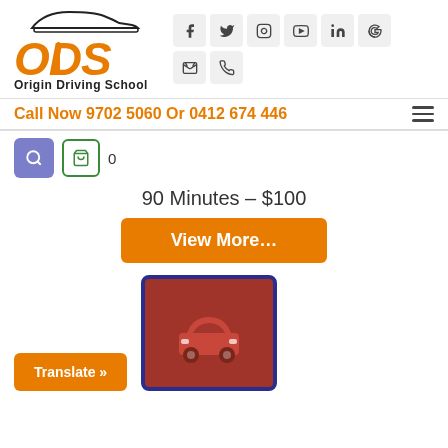[Figure (logo): Origin Driving School logo with ODS orange letters and car silhouette]
[Figure (infographic): Social media icons grid: Facebook, Twitter, Instagram, YouTube, LinkedIn, Google, Email, Phone]
Call Now 9702 5060 Or 0412 674 446
[Figure (infographic): Search button (purple) and cart button (green outline) with count 0]
90 Minutes – $100
View More...
Translate »
[Figure (illustration): Car icon on dark red/maroon card with blue border]